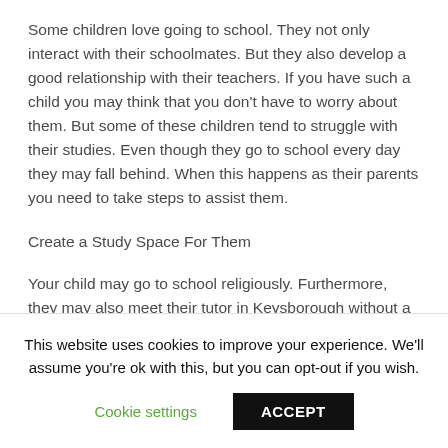Some children love going to school. They not only interact with their schoolmates. But they also develop a good relationship with their teachers. If you have such a child you may think that you don't have to worry about them. But some of these children tend to struggle with their studies. Even though they go to school every day they may fall behind. When this happens as their parents you need to take steps to assist them.
Create a Study Space For Them
Your child may go to school religiously. Furthermore, they may also meet their tutor in Keysborough without a fail. But simply doing this is not enough. That is because they also need to study at home. However, keep in mind that they cannot study anywhere they like. Instead, they should have a separate
This website uses cookies to improve your experience. We'll assume you're ok with this, but you can opt-out if you wish.
Cookie settings | ACCEPT